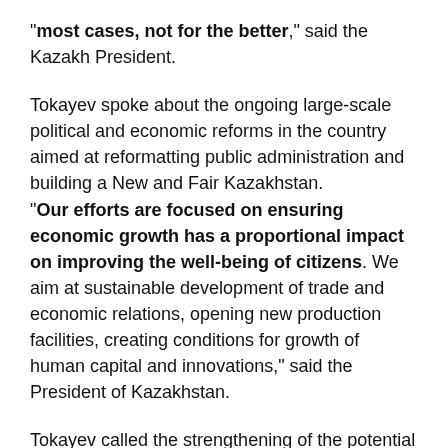"most cases, not for the better," said the Kazakh President.
Tokayev spoke about the ongoing large-scale political and economic reforms in the country aimed at reformatting public administration and building a New and Fair Kazakhstan. "Our efforts are focused on ensuring economic growth has a proportional impact on improving the well-being of citizens. We aim at sustainable development of trade and economic relations, opening new production facilities, creating conditions for growth of human capital and innovations," said the President of Kazakhstan.
Tokayev called the strengthening of the potential of the Eurasian Economic Union an urgent task. "In my opinion, it would be appropriate and useful to work out a new trade strategy within